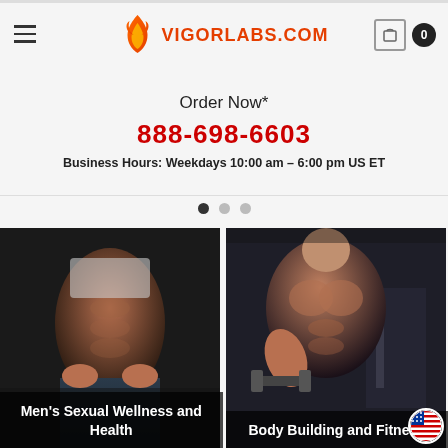VIGORLABS.COM
Order Now*
888-698-6603
Business Hours: Weekdays 10:00 am – 6:00 pm US ET
[Figure (photo): Men's Sexual Wellness and Health product category card with muscular male torso]
[Figure (photo): Body Building and Fitness product category card with muscular male lifting dumbbell]